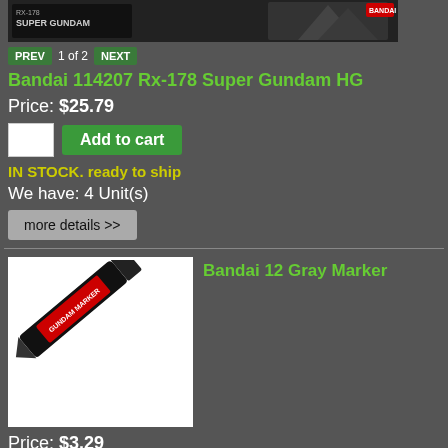[Figure (photo): Product image of Bandai Rx-178 Super Gundam HG model kit box]
PREV  1 of 2  NEXT
Bandai 114207 Rx-178 Super Gundam HG
Price: $25.79
Add to cart
IN STOCK. ready to ship
We have: 4 Unit(s)
more details >>
[Figure (photo): Product image of Bandai 12 Gray Gundam Marker pen, black diagonal marker on white background]
Bandai 12 Gray Marker
Price: $3.29